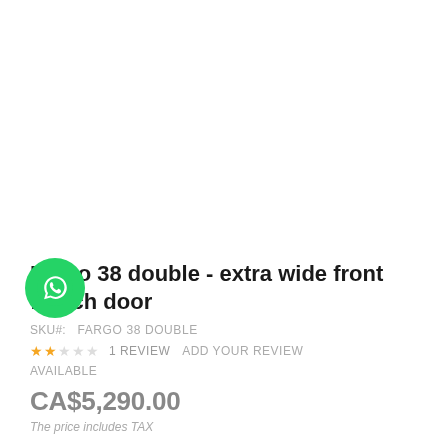[Figure (photo): Product image area — blank white space where product photo would appear]
Fargo 38 double - extra wide front french door
SKU#:  FARGO 38 DOUBLE
★★  1 REVIEW  ADD YOUR REVIEW
AVAILABLE
CA$5,290.00
The price includes TAX